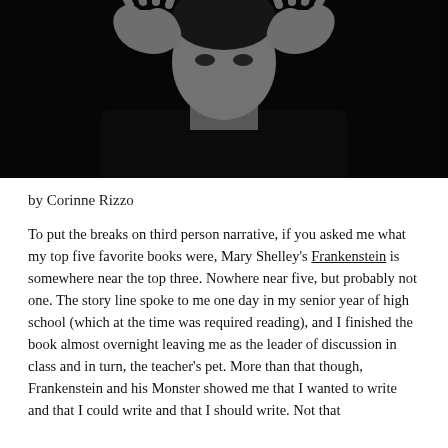[Figure (photo): Black and white dramatic photograph of a figure (resembling Frankenstein's monster) with hands raised to face against a dark background.]
by Corinne Rizzo
To put the breaks on third person narrative, if you asked me what my top five favorite books were, Mary Shelley's Frankenstein is somewhere near the top three. Nowhere near five, but probably not one. The story line spoke to me one day in my senior year of high school (which at the time was required reading), and I finished the book almost overnight leaving me as the leader of discussion in class and in turn, the teacher's pet. More than that though, Frankenstein and his Monster showed me that I wanted to write and that I could write and that I should write. Not that